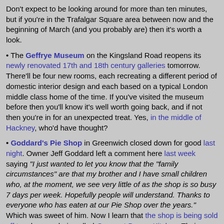Don't expect to be looking around for more than ten minutes, but if you're in the Trafalgar Square area between now and the beginning of March (and you probably are) then it's worth a look.
• The Geffrye Museum on the Kingsland Road reopens its newly renovated 17th and 18th century galleries tomorrow. There'll be four new rooms, each recreating a different period of domestic interior design and each based on a typical London middle class home of the time. If you've visited the museum before then you'll know it's well worth going back, and if not then you're in for an unexpected treat. Yes, in the middle of Hackney, who'd have thought?
• Goddard's Pie Shop in Greenwich closed down for good last night. Owner Jeff Goddard left a comment here last week saying "I just wanted to let you know that the "family circumstances" are that my brother and I have small children who, at the moment, we see very little of as the shop is so busy 7 days per week. Hopefully people will understand. Thanks to everyone who has eaten at our Pie Shop over the years." Which was sweet of him. Now I learn that the shop is being sold off to a burger chain called Gourmet Burger Kitchen. Their "innovative and exotic" cuisine will feature Chorizo Burgers, Falafel and Garlic Mayo Sauce, which is presumably just what Greenwich's tourist hordes deserve. But